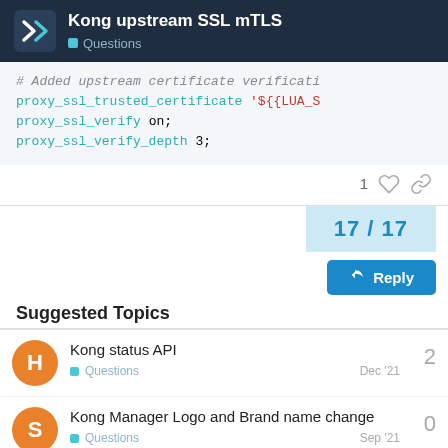Kong upstream SSL mTLS — Questions
# Added upstream certificate verificati...
proxy_ssl_trusted_certificate '${LUA_S...
proxy_ssl_verify on;
proxy_ssl_verify_depth 3;
1 (like) (link)
17 / 17
Suggested Topics
Kong status API — Questions — Dec '21 — 2
Kong Manager Logo and Brand name change — Questions — Sep '21 — 0